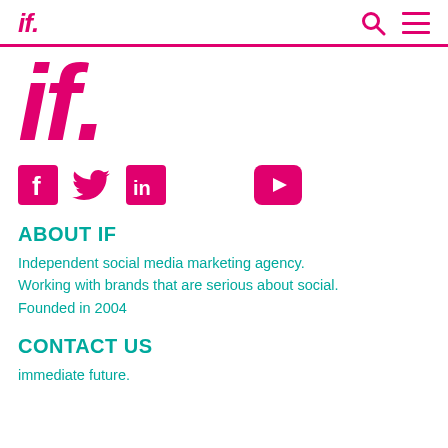if.
[Figure (logo): Large pink italic 'if.' logo in magenta/pink color]
[Figure (infographic): Social media icons: Facebook (pink square with f), Twitter (pink bird), LinkedIn (pink square with in), YouTube (pink rounded rectangle with play button)]
ABOUT IF
Independent social media marketing agency. Working with brands that are serious about social. Founded in 2004
CONTACT US
immediate future.